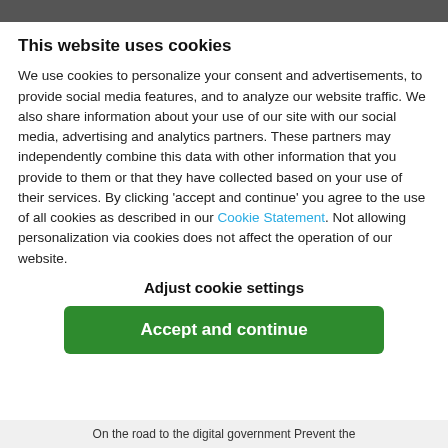This website uses cookies
We use cookies to personalize your consent and advertisements, to provide social media features, and to analyze our website traffic. We also share information about your use of our site with our social media, advertising and analytics partners. These partners may independently combine this data with other information that you provide to them or that they have collected based on your use of their services. By clicking 'accept and continue' you agree to the use of all cookies as described in our Cookie Statement. Not allowing personalization via cookies does not affect the operation of our website.
Adjust cookie settings
Accept and continue
On the road to the digital government Prevent the